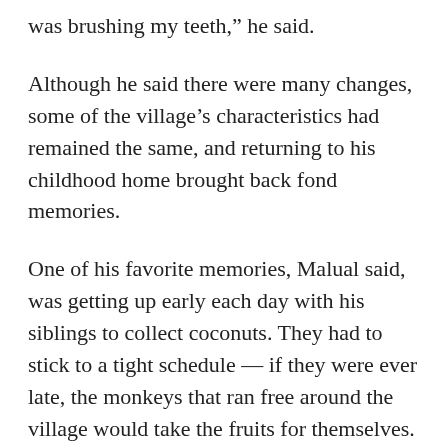was brushing my teeth,” he said.
Although he said there were many changes, some of the village’s characteristics had remained the same, and returning to his childhood home brought back fond memories.
One of his favorite memories, Malual said, was getting up early each day with his siblings to collect coconuts. They had to stick to a tight schedule — if they were ever late, the monkeys that ran free around the village would take the fruits for themselves.
“They would run around, holding the coconuts and teasing and laughing at us,” Malual said.